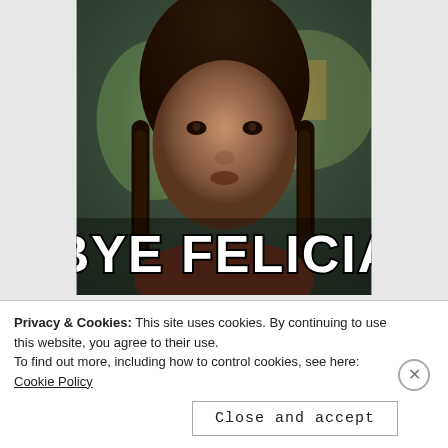[Figure (photo): Meme image of a woman with braids looking skeptically at the camera, with bold white text reading 'BYE FELICIA' overlaid at the bottom of the image.]
It’s okay to say “no” to your friends.
Being a good friend means flo...
Privacy & Cookies: This site uses cookies. By continuing to use this website, you agree to their use.
To find out more, including how to control cookies, see here: Cookie Policy
Close and accept